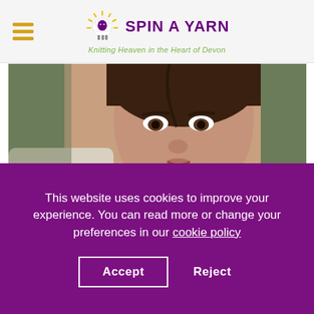[Figure (logo): Spin A Yarn logo with sheep icon, purple text 'SPIN A YARN', green tagline 'Knitting Heaven in the Heart of Devon']
[Figure (photo): Close-up photo of a young woman with dark hair wearing a knitted scarf, looking at the camera]
This website uses cookies to improve your experience. You can read more or change your preferences in our cookie policy
Accept
Reject